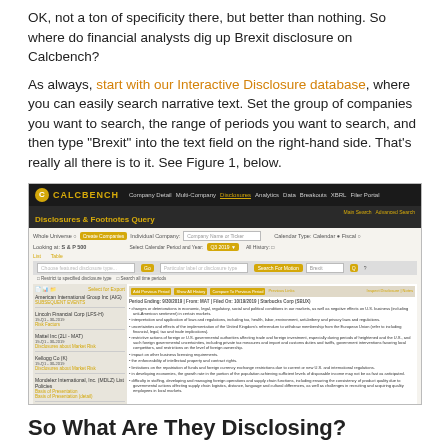OK, not a ton of specificity there, but better than nothing. So where do financial analysts dig up Brexit disclosure on Calcbench?
As always, start with our Interactive Disclosure database, where you can easily search narrative text. Set the group of companies you want to search, the range of periods you want to search, and then type “Brexit” into the text field on the right-hand side. That’s really all there is to it. See Figure 1, below.
[Figure (screenshot): Screenshot of the Calcbench Disclosures & Footnotes Query interface showing the Interactive Disclosure database search, with a list of S&P 500 companies on the left panel and Brexit-related disclosure text on the right panel.]
So What Are They Disclosing?